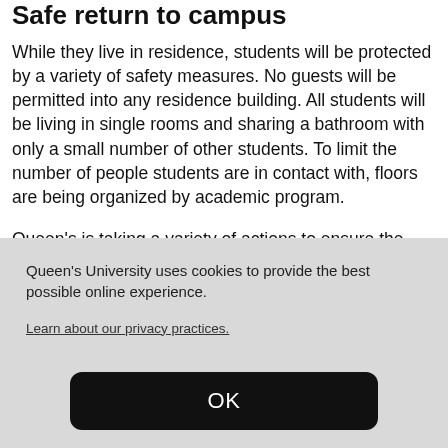Safe return to campus
While they live in residence, students will be protected by a variety of safety measures. No guests will be permitted into any residence building. All students will be living in single rooms and sharing a bathroom with only a small number of other students. To limit the number of people students are in contact with, floors are being organized by academic program.
Queen's is taking a variety of actions to ensure the
Queen's University uses cookies to provide the best possible online experience.
Learn about our privacy practices.
OK